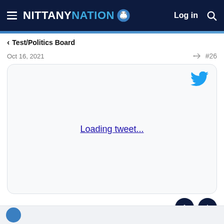NITTANY NATION — Log in
< Test/Politics Board
Oct 16, 2021   #26
[Figure (screenshot): Embedded tweet placeholder card with Twitter bird icon in top-right and 'Loading tweet...' link text in the center]
Loading tweet...